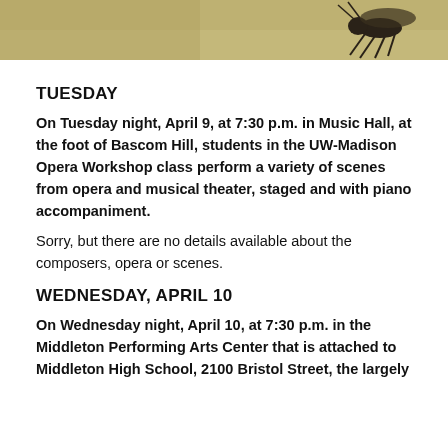[Figure (photo): Partial photo of an insect or bird on a sandy/golden background, cropped at top of page]
TUESDAY
On Tuesday night, April 9, at 7:30 p.m. in Music Hall, at the foot of Bascom Hill, students in the UW-Madison Opera Workshop class perform a variety of scenes from opera and musical theater, staged and with piano accompaniment.
Sorry, but there are no details available about the composers, opera or scenes.
WEDNESDAY, APRIL 10
On Wednesday night, April 10, at 7:30 p.m. in the Middleton Performing Arts Center that is attached to Middleton High School, 2100 Bristol Street, the largely